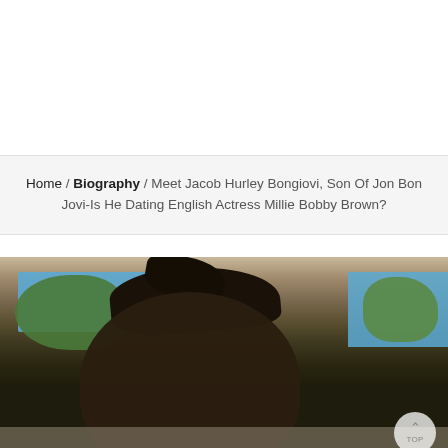Home / Biography / Meet Jacob Hurley Bongiovi, Son Of Jon Bon Jovi-Is He Dating English Actress Millie Bobby Brown?
[Figure (photo): Photo of a young person with tousled dark hair leaning back in a car, with trees, blue sky, and a bridge visible through the car window in the background. A scroll-to-top button is visible in the lower right corner.]